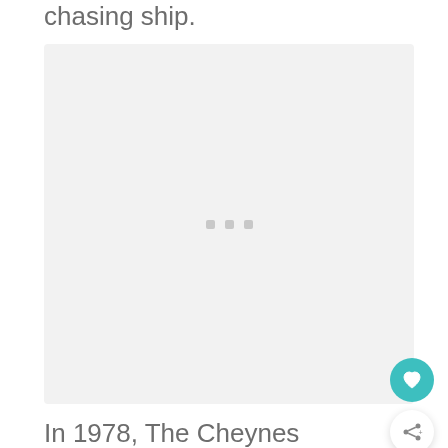chasing ship.
[Figure (photo): Image placeholder with loading dots, light grey background]
In 1978, The Cheynes Beach Whaling Company was the last whaling company to